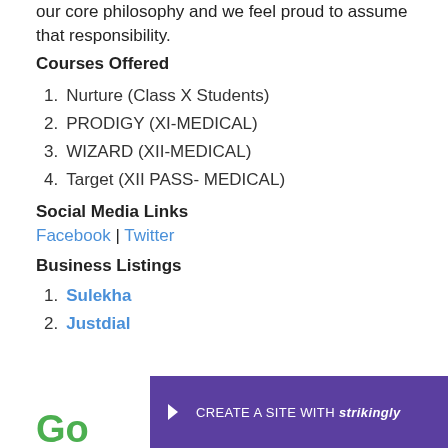our core philosophy and we feel proud to assume that responsibility.
Courses Offered
Nurture (Class X Students)
PRODIGY (XI-MEDICAL)
WIZARD (XII-MEDICAL)
Target (XII PASS- MEDICAL)
Social Media Links
Facebook | Twitter
Business Listings
Sulekha
Justdial
Go
[Figure (screenshot): Strikingly website builder promotional banner with purple background, arrow icon, and text 'CREATE A SITE WITH strikingly']